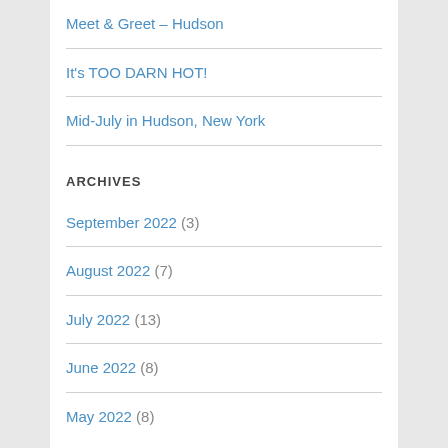Meet & Greet – Hudson
It's TOO DARN HOT!
Mid-July in Hudson, New York
ARCHIVES
September 2022 (3)
August 2022 (7)
July 2022 (13)
June 2022 (8)
May 2022 (8)